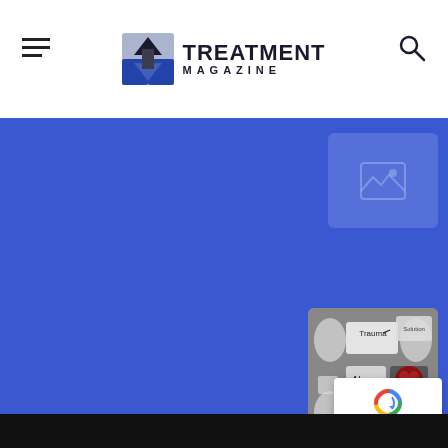[Figure (logo): Treatment Magazine logo with upward arrow icon and TREATMENT MAGAZINE text]
Recovery-Friendly Workplaces Increase Productivity
July 20, 2022 / 4 min read
[Figure (photo): Article thumbnail placeholder image icon]
The Explainer
What Is Complex Trauma in Addiction?
July 13, 2022 / 20 min read
[Figure (photo): Collage of words including Trauma, Abuse, Stress on grey background with a dark red heart image]
[Figure (other): reCAPTCHA badge with Google logo, Privacy and Terms links]